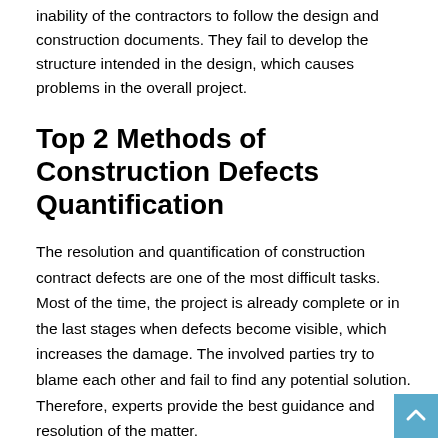inability of the contractors to follow the design and construction documents. They fail to develop the structure intended in the design, which causes problems in the overall project.
Top 2 Methods of Construction Defects Quantification
The resolution and quantification of construction contract defects are one of the most difficult tasks. Most of the time, the project is already complete or in the last stages when defects become visible, which increases the damage. The involved parties try to blame each other and fail to find any potential solution. Therefore, experts provide the best guidance and resolution of the matter.
The following are two important methods experts use to quantify defects in construction projects.